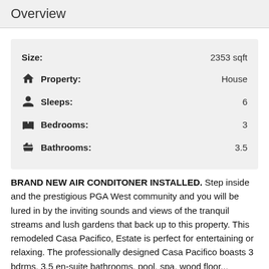Overview
| Label | Value |
| --- | --- |
| Size: | 2353 sqft |
| Property: | House |
| Sleeps: | 6 |
| Bedrooms: | 3 |
| Bathrooms: | 3.5 |
BRAND NEW AIR CONDITONER INSTALLED.  Step inside and the prestigious PGA West community and you will be lured in by the inviting sounds and views of the tranquil streams and lush gardens that back up to this property.  This remodeled Casa Pacifico, Estate is perfect for entertaining or relaxing. The professionally designed Casa Pacifico boasts 3 bdrms, 3.5 en-suite bathrooms, pool, spa, wood floor...